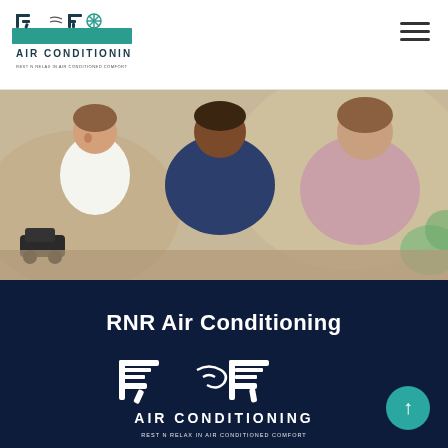[Figure (logo): RNR Air Conditioning logo — stylized RNR letters with wind/snowflake motif, text AIR CONDITIONING and REST N RELAX IN AIR CONDITIONED COMFORT, teal/dark color scheme]
[Figure (photo): Family scene: two young children and an adult sitting on a couch together, warm indoor setting, natural light]
RNR Air Conditioning
[Figure (logo): RNR Air Conditioning large white logo on dark navy background — stylized RNR with wind lines, AIR CONDITIONING text, REST N RELAX IN AIR CONDITIONED COMFORT tagline, all white]